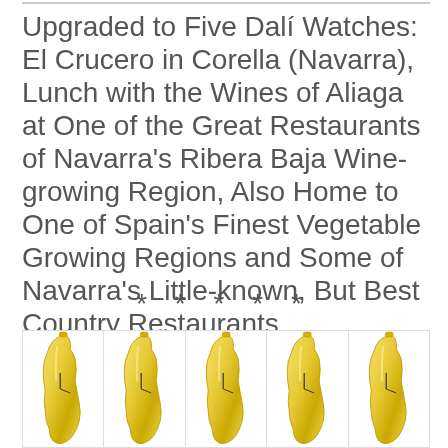Upgraded to Five Dalí Watches: El Crucero in Corella (Navarra), Lunch with the Wines of Aliaga at One of the Great Restaurants of Navarra's Ribera Baja Wine-growing Region, Also Home to One of Spain's Finest Vegetable Growing Regions and Some of Navarra's Little-known, But Best Country Restaurants.
* * * * *
[Figure (photo): Five golden Salvador Dalí melting watch figurines displayed side by side in a row against a white background.]